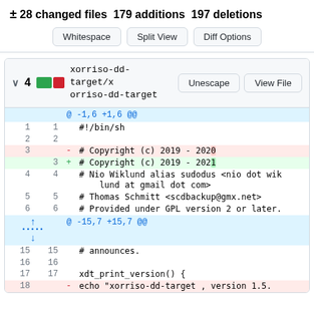± 28 changed files 179 additions 197 deletions
Whitespace | Split View | Diff Options
xorriso-dd-target/xorriso-dd-target  Unescape  View File
@ -1,6 +1,6 @@
| old | new | op | code |
| --- | --- | --- | --- |
| 1 | 1 |  | #!/bin/sh |
| 2 | 2 |  |  |
| 3 |  | -  | # Copyright (c) 2019 - 2020 |
|  | 3 | +  | # Copyright (c) 2019 - 2021 |
| 4 | 4 |  | # Nio Wiklund alias sudodus <nio dot wiklund at gmail dot com> |
| 5 | 5 |  | # Thomas Schmitt <scdbackup@gmx.net> |
| 6 | 6 |  | # Provided under GPL version 2 or later. |
@ -15,7 +15,7 @@
| old | new | op | code |
| --- | --- | --- | --- |
| 15 | 15 |  | # announces. |
| 16 | 16 |  |  |
| 17 | 17 |  | xdt_print_version() { |
| 18 |  | -  | echo "xorriso-dd-target , version 1.5. |